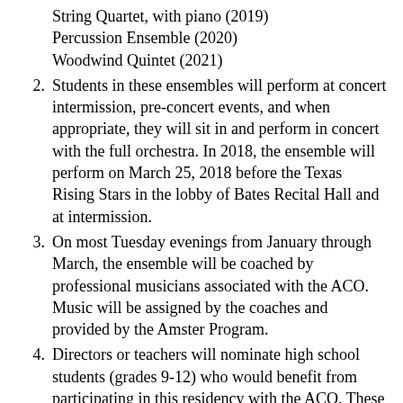String Quartet, with piano (2019) Percussion Ensemble (2020) Woodwind Quintet (2021)
Students in these ensembles will perform at concert intermission, pre-concert events, and when appropriate, they will sit in and perform in concert with the full orchestra. In 2018, the ensemble will perform on March 25, 2018 before the Texas Rising Stars in the lobby of Bates Recital Hall and at intermission.
On most Tuesday evenings from January through March, the ensemble will be coached by professional musicians associated with the ACO. Music will be assigned by the coaches and provided by the Amster Program.
Directors or teachers will nominate high school students (grades 9-12) who would benefit from participating in this residency with the ACO. These nominations will be